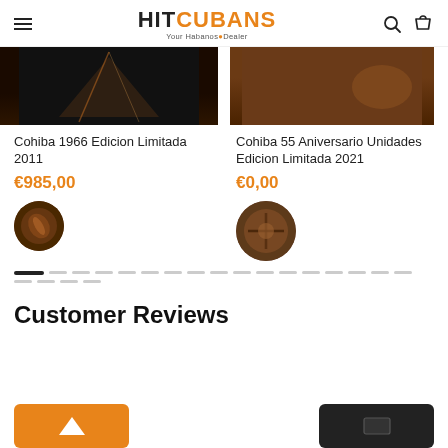HITCUBANS Your Habanos Dealer
[Figure (screenshot): Product card top image for Cohiba 1966 Edicion Limitada 2011 - dark background with cigar]
Cohiba 1966 Edicion Limitada 2011
€985,00
[Figure (photo): Circular thumbnail of Cohiba 1966 Edicion Limitada 2011 product]
[Figure (screenshot): Product card top image for Cohiba 55 Aniversario Unidades Edicion Limitada 2021 - brown background]
Cohiba 55 Aniversario Unidades Edicion Limitada 2021
€0,00
[Figure (photo): Circular thumbnail of Cohiba 55 Aniversario product]
[Figure (other): Carousel pagination dots - first dot active, followed by many inactive dots]
Customer Reviews